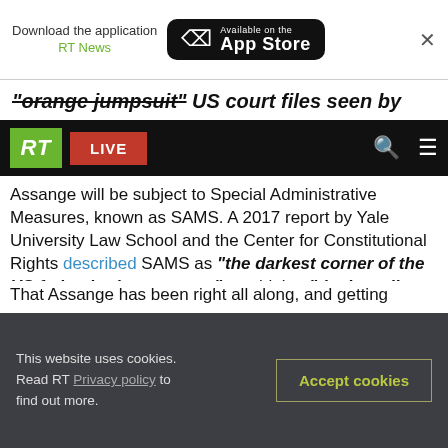[Figure (screenshot): App Store download banner for RT News app showing 'Available on the App Store' button and close X]
"orange jumpsuit" US court files seen by
[Figure (logo): RT logo (green background, white italic RT text) with red LIVE button and navigation icons on black bar]
Assange will be subject to Special Administrative Measures, known as SAMS. A 2017 report by Yale University Law School and the Center for Constitutional Rights described SAMS as "the darkest corner of the US federal prison system" combining "the brutality and isolation of maximum security units with additional restrictions that deny individuals almost any connection to the human world... The net effect is to shield this form of torture from any real public scrutiny".
That Assange has been right all along, and getting
This website uses cookies. Read RT Privacy policy to find out more.